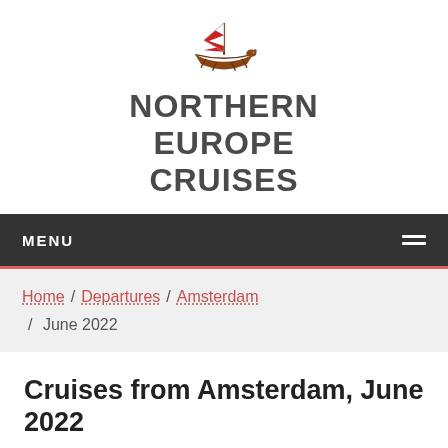[Figure (logo): Viking ship logo with red and white striped sail and brown hull]
NORTHERN EUROPE CRUISES
MENU
Home / Departures / Amsterdam / June 2022
Cruises from Amsterdam, June 2022